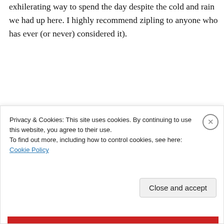exhilerating way to spend the day despite the cold and rain we had up here. I highly recommend zipling to anyone who has ever (or never) considered it).
~Midnite
★ Like
↪ Reply
REPORT THIS AD
Privacy & Cookies: This site uses cookies. By continuing to use this website, you agree to their use.
To find out more, including how to control cookies, see here: Cookie Policy
Close and accept